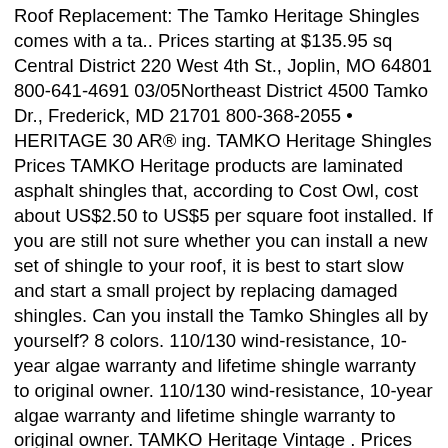Roof Replacement: The Tamko Heritage Shingles comes with a ta.. Prices starting at $135.95 sq Central District 220 West 4th St., Joplin, MO 64801 800-641-4691 03/05Northeast District 4500 Tamko Dr., Frederick, MD 21701 800-368-2055 • HERITAGE 30 AR® ing. TAMKO Heritage Shingles Prices TAMKO Heritage products are laminated asphalt shingles that, according to Cost Owl, cost about US$2.50 to US$5 per square foot installed. If you are still not sure whether you can install a new set of shingle to your roof, it is best to start slow and start a small project by replacing damaged shingles. Can you install the Tamko Shingles all by yourself? 8 colors. 110/130 wind-resistance, 10-year algae warranty and lifetime shingle warranty to original owner. 110/130 wind-resistance, 10-year algae warranty and lifetime shingle warranty to original owner. TAMKO Heritage Vintage . Prices starting at $175.95 sq Generally, asphalt shingles are a more economical option for residential roofs, whereas metal, slate, and tile, are more premium options: Installing shingles in your roof is strenuous, whether you are installing refurbished old shingles or a clean setup, you need to be prepared mentally to get the job done. Box 1404 Joplin, MO 64802-1404 800-641-4691 tamko.com ©2019 TAMKO Building Products LLC. The price of a standard roof will cost you $850 to $1000. Various roofing materials are available in the market, but the Tamko heritage shingles price is what many people consider purchasing. Tamko Heritage Vintage hip and ridge shingles